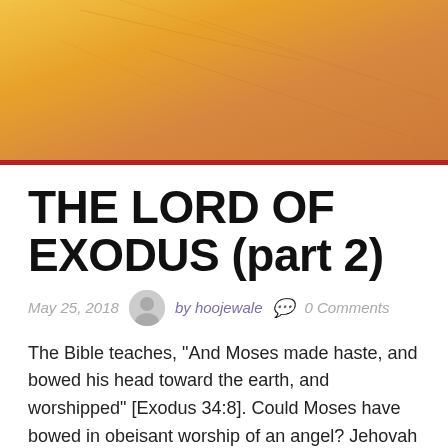[Figure (photo): Golden/orange textured background image, close-up of skin or warm-toned surface]
THE LORD OF EXODUS (part 2)
May 25, 2018   by hoojewale   0 Comments
The Bible teaches, "And Moses made haste, and bowed his head toward the earth, and worshipped" [Exodus 34:8]. Could Moses have bowed in obeisant worship of an angel? Jehovah alone deserves the description of "Awesome!!" None else can be defined as: 'inspiring an adorable reverence, and fear